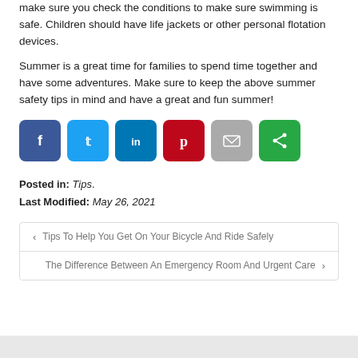make sure you check the conditions to make sure swimming is safe. Children should have life jackets or other personal flotation devices.
Summer is a great time for families to spend time together and have some adventures. Make sure to keep the above summer safety tips in mind and have a great and fun summer!
[Figure (infographic): Row of social sharing buttons: Facebook (blue), Twitter (light blue), LinkedIn (dark blue), Pinterest (red), Email (gray), Share (green)]
Posted in: Tips.
Last Modified: May 26, 2021
‹ Tips To Help You Get On Your Bicycle And Ride Safely
The Difference Between An Emergency Room And Urgent Care ›